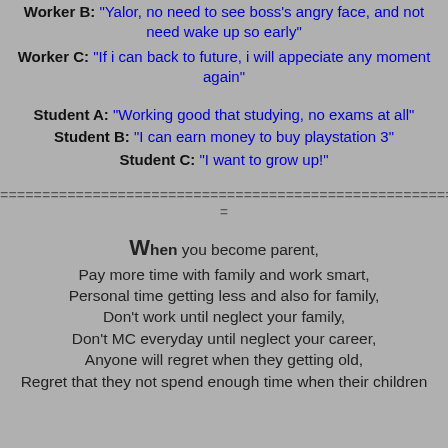Worker B: "Yalor, no need to see boss's angry face, and not need wake up so early"
Worker C: "If i can back to future, i will appeciate any moment again"
Student A: "Working good that studying, no exams at all"
Student B: "I can earn money to buy playstation 3"
Student C: "I want to grow up!"
===========================================================
=
When you become parent,
Pay more time with family and work smart,
Personal time getting less and also for family,
Don't work until neglect your family,
Don't MC everyday until neglect your career,
Anyone will regret when they getting old,
Regret that they not spend enough time when their children